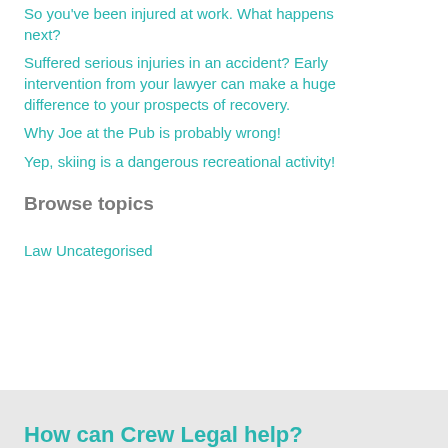So you've been injured at work. What happens next?
Suffered serious injuries in an accident? Early intervention from your lawyer can make a huge difference to your prospects of recovery.
Why Joe at the Pub is probably wrong!
Yep, skiing is a dangerous recreational activity!
Browse topics
Law
Uncategorised
How can Crew Legal help?